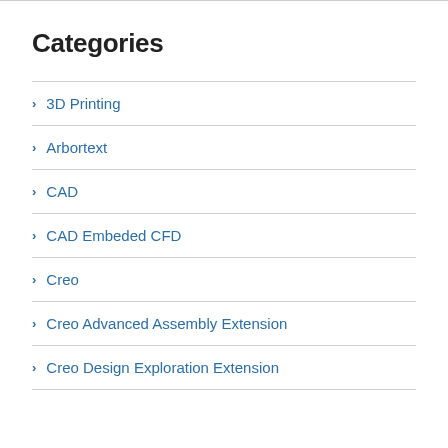Categories
3D Printing
Arbortext
CAD
CAD Embeded CFD
Creo
Creo Advanced Assembly Extension
Creo Design Exploration Extension